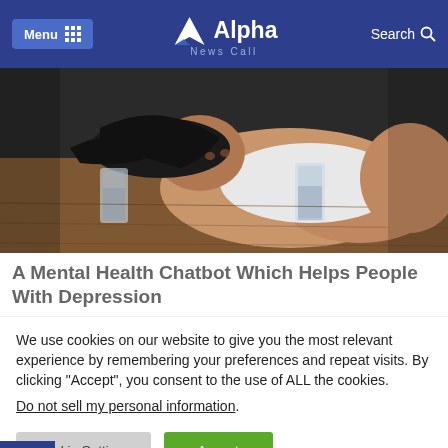Alpha News Call — Menu | Search
[Figure (photo): A woman lying with her head on a wooden table with two glasses of liquid, looking distressed, wearing a white top]
A Mental Health Chatbot Which Helps People With Depression
We use cookies on our website to give you the most relevant experience by remembering your preferences and repeat visits. By clicking “Accept”, you consent to the use of ALL the cookies.
Do not sell my personal information.